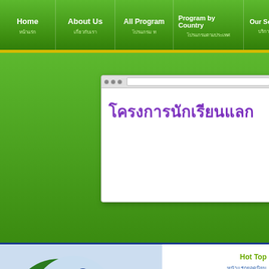Home | About Us | All Program | Program by Country | Our Services
[Figure (screenshot): Browser window showing Thai text heading 'โครงการนักเรียนแลก' in purple on white background]
[Figure (logo): WORANTEX Education and Travel Co., Ltd. logo with green crescent moon and two human figures]
Work and Travel
Training & Internship
Au Pair
Work and Study
Hot Top
Make it diffe